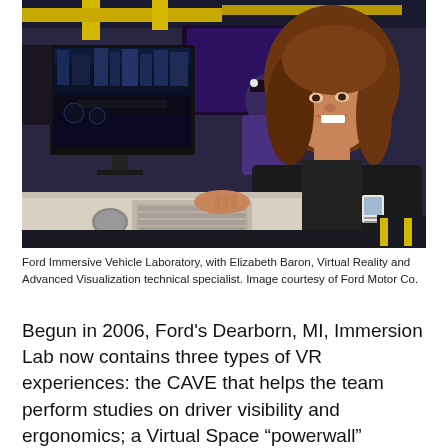[Figure (photo): Ford Immersive Vehicle Laboratory interior showing a woman (Elizabeth Baron, Virtual Reality and Advanced Visualization technical specialist) smiling at the camera while standing at a workstation with computer monitors displaying a 3D driving environment. In the background, another person wears VR goggles. The lab has yellow industrial overhead equipment and purple-lit screens.]
Ford Immersive Vehicle Laboratory, with Elizabeth Baron, Virtual Reality and Advanced Visualization technical specialist. Image courtesy of Ford Motor Co.
Begun in 2006, Ford's Dearborn, MI, Immersion Lab now contains three types of VR experiences: the CAVE that helps the team perform studies on driver visibility and ergonomics; a Virtual Space “powerwall” recently upgraded to a 4K (4096x2160 resolution) display for 3D model